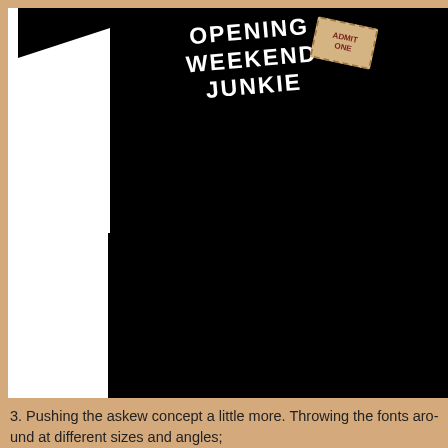[Figure (photo): Black t-shirt with text 'OPENING WEEKEND JUNKIE' in white bold letters with a movie ticket stub graphic, partially cropped showing only upper body portion]
3. Pushing the askew concept a little more. Throwing the fonts around at different sizes and angles;
[Figure (photo): Bottom portion of a black t-shirt showing the collar area, partially cropped]